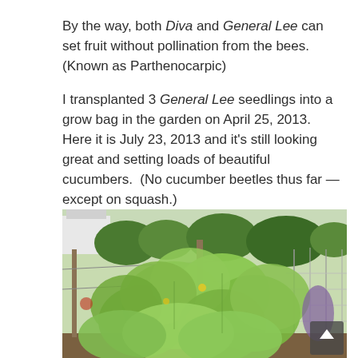By the way, both Diva and General Lee can set fruit without pollination from the bees. (Known as Parthenocarpic)

I transplanted 3 General Lee seedlings into a  grow bag in the garden on April 25, 2013.  Here it is July 23, 2013 and it's still looking great and setting loads of beautiful cucumbers.  (No cucumber beetles thus far — except on squash.)
[Figure (photo): Photograph of cucumber plants growing in a garden, showing large green leaves climbing up a trellis/stake, with a fence and neighborhood houses visible in the background.]